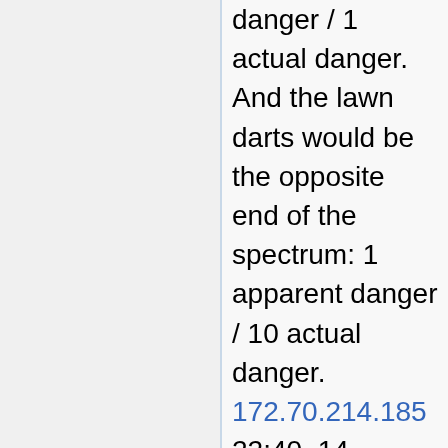danger / 1 actual danger. And the lawn darts would be the opposite end of the spectrum: 1 apparent danger / 10 actual danger. 172.70.214.185 22:40, 14 January 2022 (UTC)
To me it appears that you are describing the "perceived danger to actual danger" ratio, while the comic mentions the "perceived danger to actual safety" ratio, which would be of no extreme value (high number divided by high number) for a spinthariscope. So I think that the current explanation, while